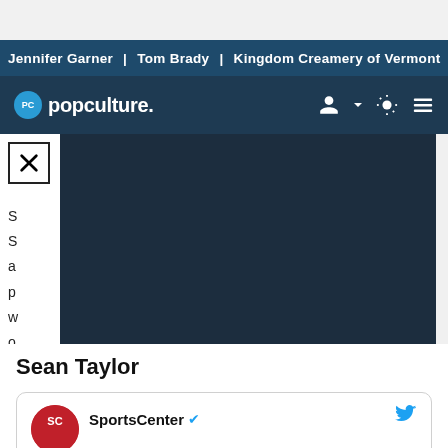Jennifer Garner | Tom Brady | Kingdom Creamery of Vermont
[Figure (logo): Popculture.com navigation bar with PC logo, user icon, light mode toggle, and menu icon]
[Figure (screenshot): Video player showing popculture.com logo with play button overlay on dark background]
Sean Taylor
[Figure (screenshot): SportsCenter Twitter/X card with verified badge and Twitter bird icon]